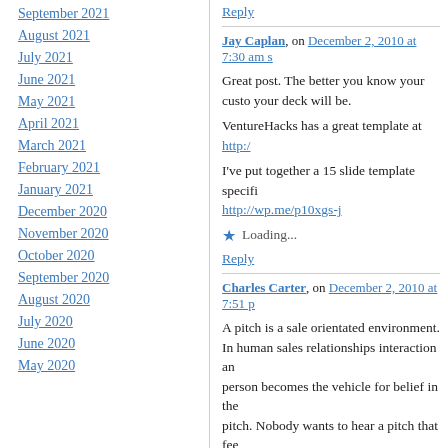September 2021
August 2021
July 2021
June 2021
May 2021
April 2021
March 2021
February 2021
January 2021
December 2020
November 2020
October 2020
September 2020
August 2020
July 2020
June 2020
May 2020
Reply
Jay Caplan, on December 2, 2010 at 7:30 am s
Great post. The better you know your custo... your deck will be.
VentureHacks has a great template at http:/...
I've put together a 15 slide template specifi... http://wp.me/p10xgs-j
Loading...
Reply
Charles Carter, on December 2, 2010 at 7:51 p
A pitch is a sale orientated environment. In human sales relationships interaction an... person becomes the vehicle for belief in the... pitch. Nobody wants to hear a pitch that fee... the less personal it will feel.
An entrepreneur must sell both the product ... prove indispensable in this communication n...
Loading...